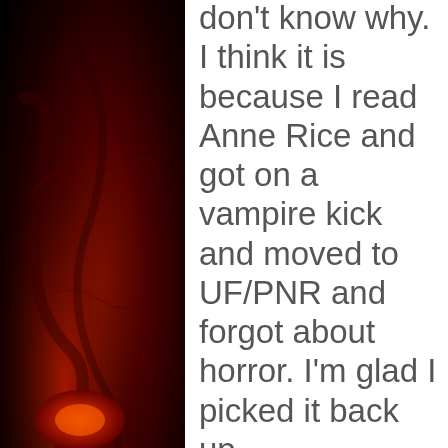[Figure (illustration): Horror-themed background image with dark red glowing demonic figure visible on left and right sides, flanking a white content panel in the center]
don't know why. I think it is because I read Anne Rice and got on a vampire kick and moved to UF/PNR and forgot about horror. I'm glad I picked it back up
This website uses cookies to track the number of visitors to the...
IT AUDIOBOOK BY STEPHEN KING (REVIEW)
if you wish.  Accept  PRIVACY POLICY  This blog is for...
Risk It All Audiobook by
Neth...